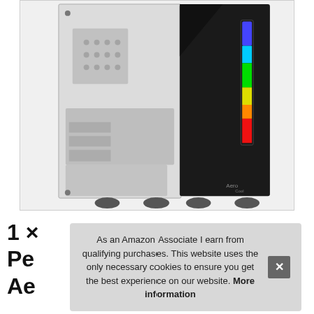[Figure (photo): A PC computer case (tower) with a tempered glass side panel showing internal components, and a black front panel with a vertical RGB rainbow LED strip on the right side. Four rubber feet visible at the bottom. AeroCool branding logo visible at the bottom right.]
1 x Pe Ae
As an Amazon Associate I earn from qualifying purchases. This website uses the only necessary cookies to ensure you get the best experience on our website. More information